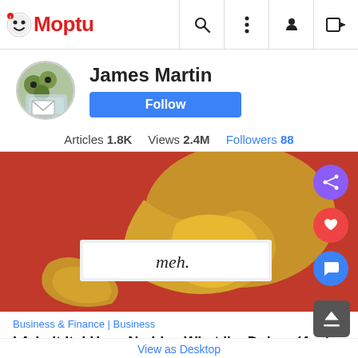Moptu — navigation bar with search, menu, profile, and login icons
James Martin
Follow
Articles 1.8K   Views 2.4M   Followers 88
[Figure (photo): Fortune cookie opened with paper slip reading 'meh.' on a red background, with share, like, and comment action buttons on the right side]
Business & Finance | Business
I Admit It. I Have No Idea What I'm Doing. (And That's a Good Thing.)
View as Desktop